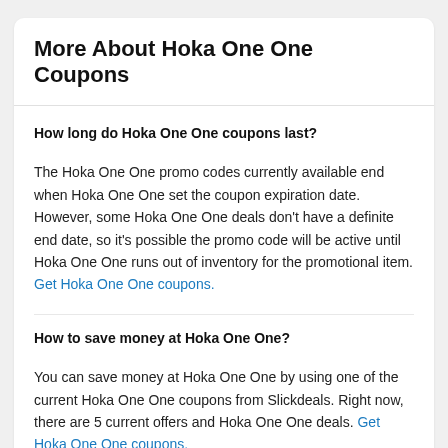More About Hoka One One Coupons
How long do Hoka One One coupons last?
The Hoka One One promo codes currently available end when Hoka One One set the coupon expiration date. However, some Hoka One One deals don't have a definite end date, so it's possible the promo code will be active until Hoka One One runs out of inventory for the promotional item. Get Hoka One One coupons.
How to save money at Hoka One One?
You can save money at Hoka One One by using one of the current Hoka One One coupons from Slickdeals. Right now, there are 5 current offers and Hoka One One deals. Get Hoka One One coupons.
How many Hoka One One online coupons are available?
There are currently 5 Hoka One One online coupons available at Hoka One One. These include the Mo...